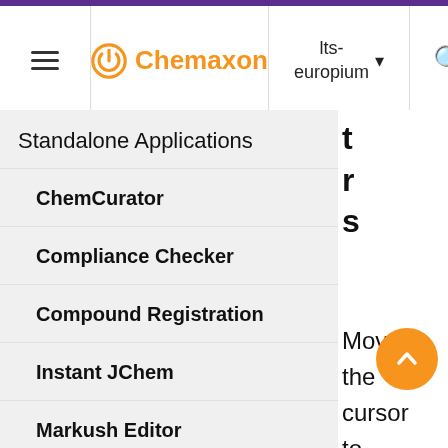Chemaxon | lts-europium
Standalone Applications
ChemCurator
Compliance Checker
Compound Registration
Instant JChem
Markush Editor
Marvin Live
MarvinSketch
Introduction to MarvinSketch
Move the cursor to the atom where you would